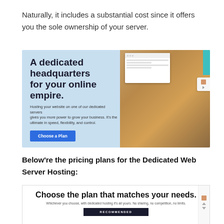Naturally, it includes a substantial cost since it offers you the sole ownership of your server.
[Figure (screenshot): Promotional banner for dedicated web hosting with headline 'A dedicated headquarters for your online empire.' and a photo of a person playing guitar alongside a browser mockup screenshot. Includes a 'Choose a Plan' call-to-action button.]
Below're the pricing plans for the Dedicated Web Server Hosting:
[Figure (screenshot): Pricing section screenshot showing 'Choose the plan that matches your needs.' with subtitle 'Whichever you choose, with dedicated hosting it's all yours. No sharing, no competition, no limits.' and a dark 'RECOMMENDED' button.]